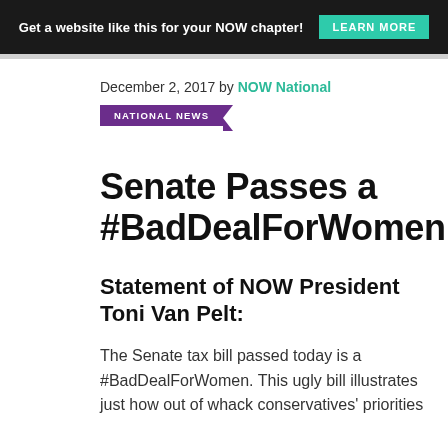Get a website like this for your NOW chapter! LEARN MORE
December 2, 2017 by NOW National
NATIONAL NEWS
Senate Passes a #BadDealForWomen
Statement of NOW President Toni Van Pelt:
The Senate tax bill passed today is a #BadDealForWomen. This ugly bill illustrates just how out of whack conservatives' priorities